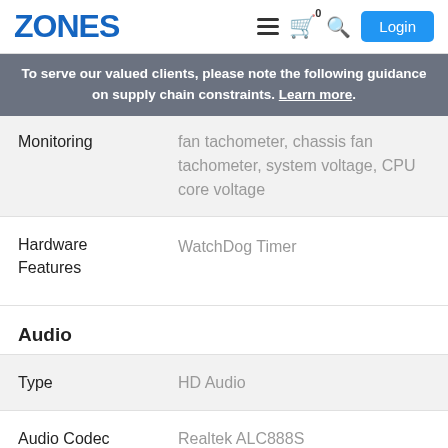ZONES | Login
To serve our valued clients, please note the following guidance on supply chain constraints. Learn more.
| Feature | Value |
| --- | --- |
| Monitoring | fan tachometer, chassis fan tachometer, system voltage, CPU core voltage |
| Hardware Features | WatchDog Timer |
Audio
| Feature | Value |
| --- | --- |
| Type | HD Audio |
| Audio Codec | Realtek ALC888S |